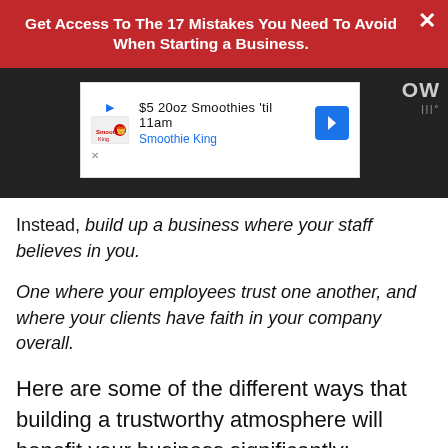Get Access To The 17 Mistakes You Need To Avoid When Starting a Business.
[Figure (screenshot): Smoothie King advertisement: $5 20oz Smoothies 'til 11am with Smoothie King logo and navigation arrow icon]
Instead, build up a business where your staff believes in you.
One where your employees trust one another, and where your clients have faith in your company overall.
Here are some of the different ways that building a trustworthy atmosphere will benefit your business significantly: